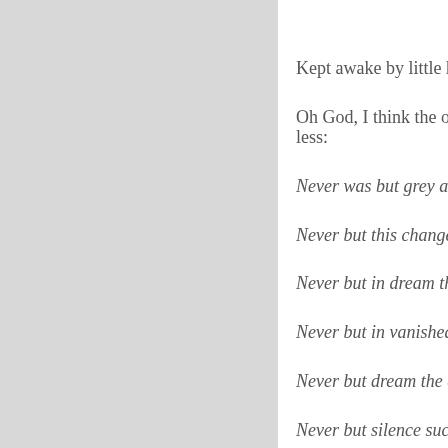[Figure (other): Grey rectangular panel occupying the left portion of the page]
Kept awake by little hoove...

Oh God, I think the only w...
less:

Never was but grey air tim...

Never but this changeless...

Never but in dream the ha...

Never but in vanished dre...

Never but dream the days...

Never but silence such tha...

Old love new love as in th...

Figment dawn dispeller of...